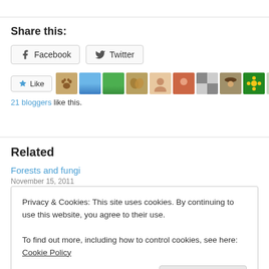Share this:
Facebook   Twitter
[Figure (other): Like button with star icon, followed by a row of 11 blogger avatar thumbnails]
21 bloggers like this.
Related
Forests and fungi
November 15, 2011
Privacy & Cookies: This site uses cookies. By continuing to use this website, you agree to their use.
To find out more, including how to control cookies, see here: Cookie Policy
Close and accept
Local Piston Lichens